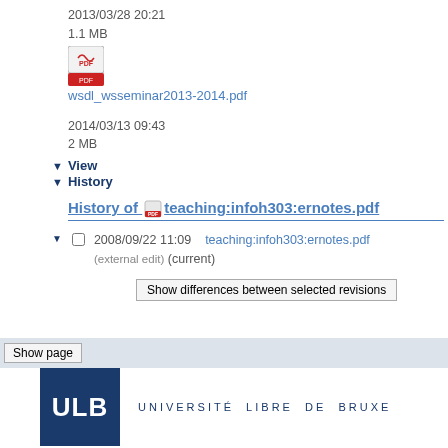2013/03/28 20:21
1.1 MB
[Figure (illustration): PDF file icon]
wsdl_wsseminar2013-2014.pdf
2014/03/13 09:43
2 MB
▶ View
▶ History
History of teaching:infoh303:ernotes.pdf
2008/09/22 11:09   teaching:infoh303:ernotes.pdf
(external edit) (current)
Show differences between selected revisions
Show page
[Figure (logo): ULB - Université Libre de Bruxelles logo with dark blue square containing ULB text and university name]